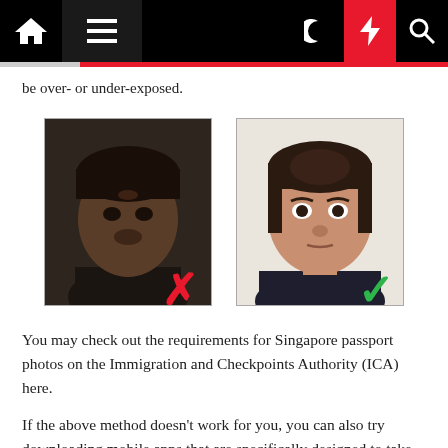Navigation bar with home, menu, dark mode, bolt, search icons
be over- or under-exposed.
[Figure (photo): Two passport-style photos side by side. Left photo shows a woman with under-exposed/dark photo with a red X mark indicating incorrect. Right photo shows a woman with properly exposed photo with a green check mark indicating correct.]
You may check out the requirements for Singapore passport photos on the Immigration and Checkpoints Authority (ICA) here.
If the above method doesn't work for you, you can also try downloading mobile apps that are specifically designed to take photos for passports